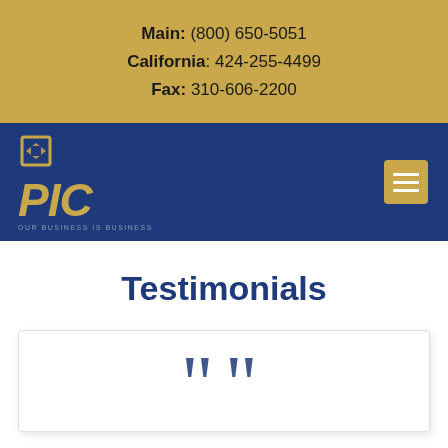Main: (800) 650-5051
California: 424-255-4499
Fax: 310-606-2200
[Figure (logo): PIC Insurance logo with gold icon mark above gold italic PIC letters on navy background, with tagline 'OUR BUSINESS IS BUSINESS']
Testimonials
[Figure (illustration): Large opening double quotation marks in navy blue, beginning of a testimonial card]